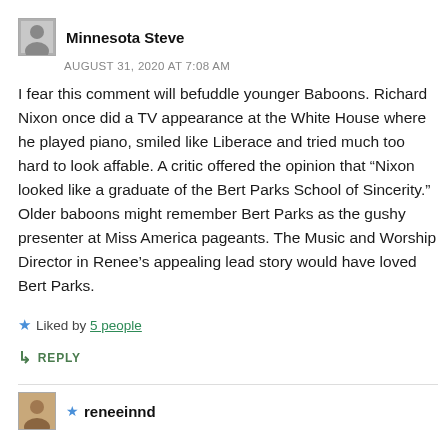Minnesota Steve
AUGUST 31, 2020 AT 7:08 AM
I fear this comment will befuddle younger Baboons. Richard Nixon once did a TV appearance at the White House where he played piano, smiled like Liberace and tried much too hard to look affable. A critic offered the opinion that “Nixon looked like a graduate of the Bert Parks School of Sincerity.” Older baboons might remember Bert Parks as the gushy presenter at Miss America pageants. The Music and Worship Director in Renee’s appealing lead story would have loved Bert Parks.
Liked by 5 people
REPLY
reneeinnd